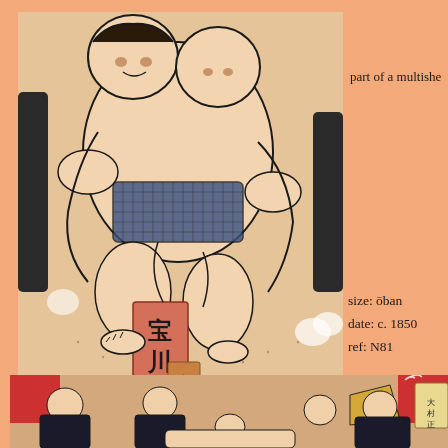[Figure (illustration): Japanese woodblock print showing sumo wrestlers grappling, with Japanese calligraphy cartouche in lower left area of the image]
part of a multishe
size: ōban
date: c. 1850
ref: N81
[Figure (illustration): Japanese woodblock print showing sumo scene with multiple figures in traditional dress, one wrestler lying down, others surrounding]